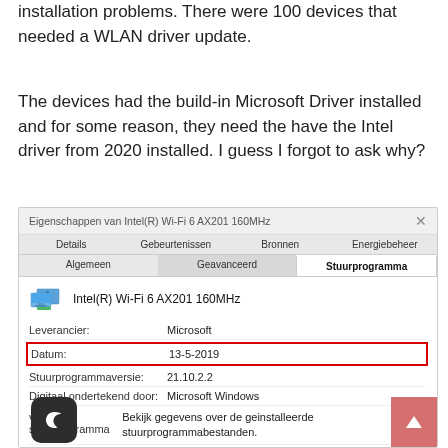installation problems. There were 100 devices that needed a WLAN driver update.
The devices had the build-in Microsoft Driver installed and for some reason, they need the have the Intel driver from 2020 installed. I guess I forgot to ask why?
[Figure (screenshot): Windows device properties dialog for Intel(R) Wi-Fi 6 AX201 160MHz showing driver details tab with Datum (date) field highlighted in red box showing 13-5-2019, Leverancier: Microsoft, Stuurprogrammaversie: 21.10.2.2, Digitaal ondertekend door: Microsoft Windows]